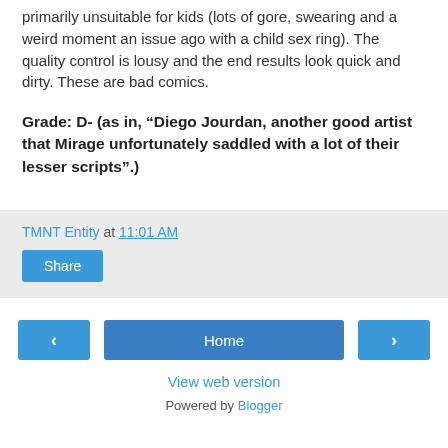primarily unsuitable for kids (lots of gore, swearing and a weird moment an issue ago with a child sex ring).  The quality control is lousy and the end results look quick and dirty.  These are bad comics.
Grade: D- (as in, “Diego Jourdan, another good artist that Mirage unfortunately saddled with a lot of their lesser scripts”.)
TMNT Entity at 11:01 AM
Share
Home
View web version
Powered by Blogger